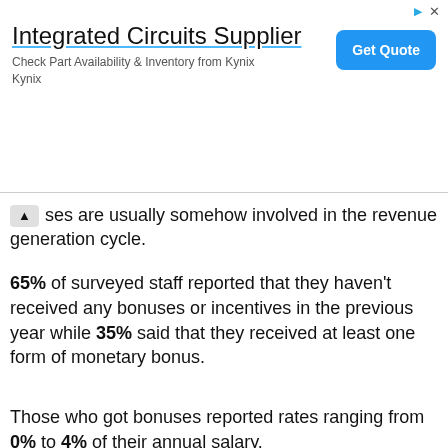[Figure (screenshot): Advertisement banner for Integrated Circuits Supplier - Kynix, with 'Get Quote' button]
ses are usually somehow involved in the revenue generation cycle.
65% of surveyed staff reported that they haven't received any bonuses or incentives in the previous year while 35% said that they received at least one form of monetary bonus.
Those who got bonuses reported rates ranging from 0% to 4% of their annual salary.
[Figure (bar-chart): Bonus survey results]